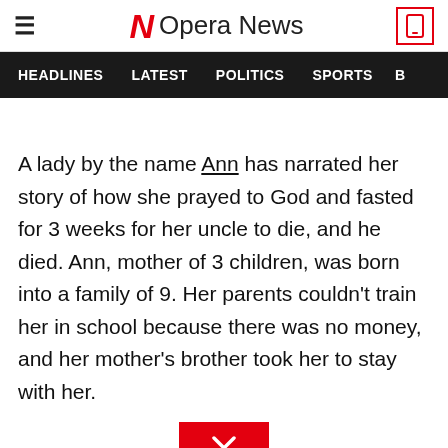Opera News
HEADLINES  LATEST  POLITICS  SPORTS  B
A lady by the name Ann has narrated her story of how she prayed to God and fasted for 3 weeks for her uncle to die, and he died. Ann, mother of 3 children, was born into a family of 9. Her parents couldn't train her in school because there was no money, and her mother's brother took her to stay with her.